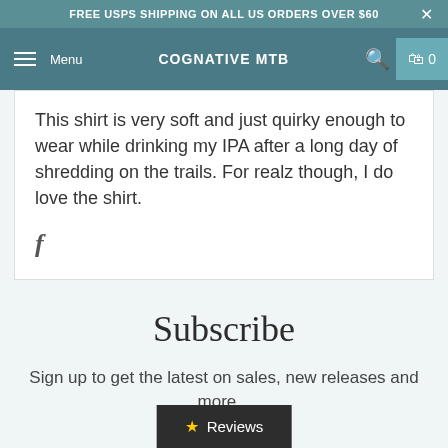FREE USPS SHIPPING ON ALL US ORDERS OVER $60
COGNATIVE MTB
This shirt is very soft and just quirky enough to wear while drinking my IPA after a long day of shredding on the trails. For realz though, I do love the shirt.
Subscribe
Sign up to get the latest on sales, new releases and more...